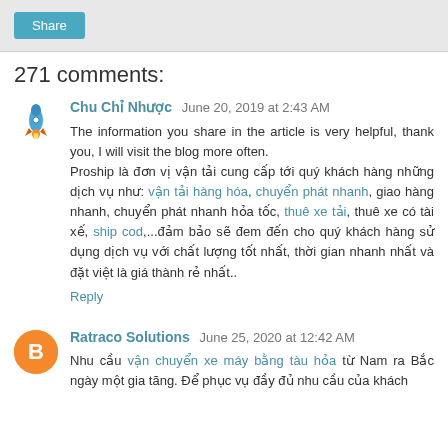Share
271 comments:
Chu Chỉ Nhược  June 20, 2019 at 2:43 AM
The information you share in the article is very helpful, thank you, I will visit the blog more often.
Proship là đơn vị vận tải cung cấp tới quý khách hàng những dịch vụ như: vận tải hàng hóa, chuyển phát nhanh, giao hàng nhanh, chuyển phát nhanh hỏa tốc, thuê xe tải, thuê xe có tài xế, ship cod,...đảm bảo sẽ đem đến cho quý khách hàng sử dụng dịch vụ với chất lượng tốt nhất, thời gian nhanh nhất và đặt việt là giá thành rẻ nhất..
Reply
Ratraco Solutions  June 25, 2020 at 12:42 AM
Nhu cầu vận chuyển xe máy bằng tàu hỏa từ Nam ra Bắc ngày một gia tăng. Để phục vụ đầy đủ nhu cầu của khách...